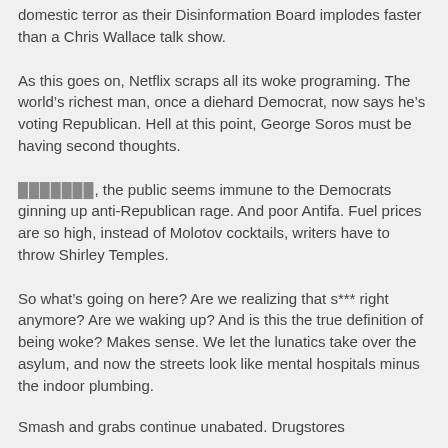domestic terror as their Disinformation Board implodes faster than a Chris Wallace talk show.
As this goes on, Netflix scraps all its woke programing. The world’s richest man, once a diehard Democrat, now says he’s voting Republican. Hell at this point, George Soros must be having second thoughts.
███████, the public seems immune to the Democrats ginning up anti-Republican rage. And poor Antifa. Fuel prices are so high, instead of Molotov cocktails, writers have to throw Shirley Temples.
So what’s going on here? Are we realizing that s*** right anymore? Are we waking up? And is this the true definition of being woke? Makes sense. We let the lunatics take over the asylum, and now the streets look like mental hospitals minus the indoor plumbing.
Smash and grabs continue unabated. Drugstores